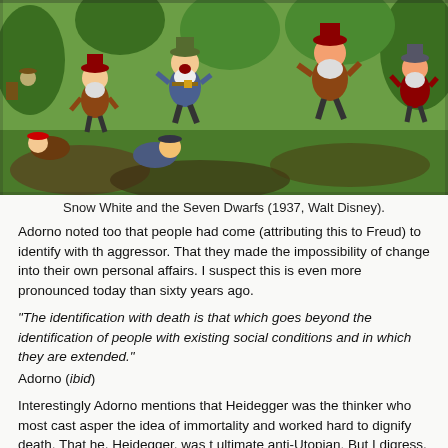[Figure (illustration): Scene from Snow White and the Seven Dwarfs (1937, Walt Disney) showing animated dwarfs running through a forest setting.]
Snow White and the Seven Dwarfs (1937, Walt Disney).
Adorno noted too that people had come (attributing this to Freud) to identify with the aggressor. That they made the impossibility of change into their own personal affairs. I suspect this is even more pronounced today than sixty years ago.
“The identification with death is that which goes beyond the identification of people with existing social conditions and in which they are extended.”
Adorno (ibid)
Interestingly Adorno mentions that Heidegger was the thinker who most cast asper the idea of immortality and worked hard to dignify death. That he, Heidegger, was t ultimate anti-Utopian. But I digress. In Dialectic of Enlightenment Adorno and Horkh describe the evolution of early humans — in a party allegorical manner I think — a that with language eventually came concepts and with concepts came an ability to think about this the first abstract words… the concepts of…